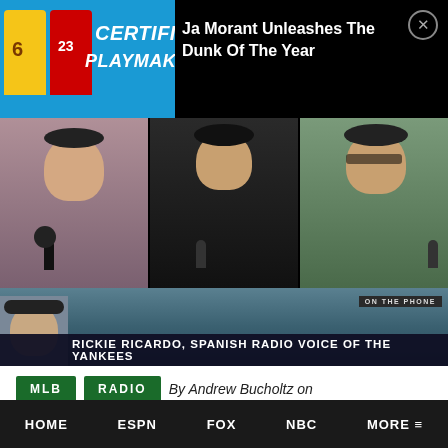[Figure (screenshot): Notification banner on black background showing thumbnail of 'Certified Playmaker' podcast with sports jerseys visible, beside text 'Ja Morant Unleashes The Dunk Of The Year' and a close button]
[Figure (screenshot): Three podcast hosts in a video grid: a woman on left with open mouth expression, a man in black hoodie in center, a man in green shirt on right, all wearing headphones and sitting at microphones]
[Figure (screenshot): TV chyron screenshot showing 'ON THE PHONE' label, a man's face on left, and lower-third text reading 'RICKIE RICARDO, SPANISH RADIO VOICE OF THE YANKEES' on dark bar over stadium background]
MLB  RADIO  By Andrew Bucholtz on 09/02/2021
HOME  ESPN  FOX  NBC  MORE